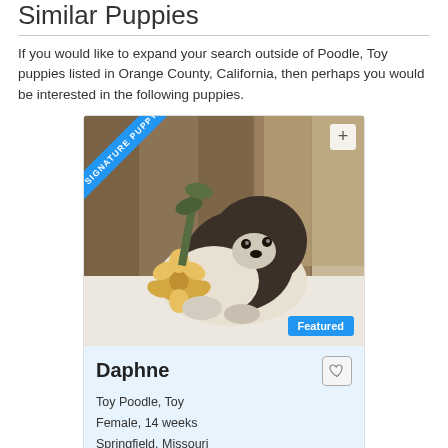Similar Puppies
If you would like to expand your search outside of Poodle, Toy puppies listed in Orange County, California, then perhaps you would be interested in the following puppies.
[Figure (photo): Photo of a black and white fluffy puppy (Daphne) lying down with a flower and plant decoration. Has a blue 'SIGNATURE PUPPY' ribbon in top-left corner, a '+' button in top-right, and a blue 'Featured' badge in bottom-right.]
Daphne
Toy Poodle, Toy
Female, 14 weeks
Springfield, Missouri
Learn more >